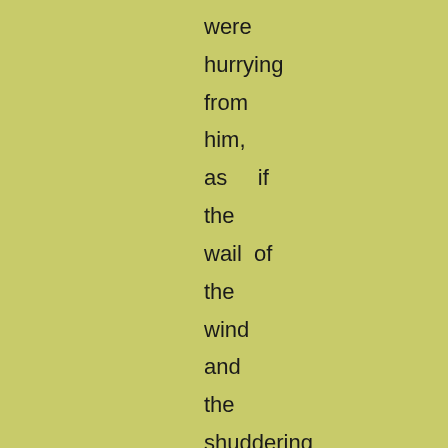were hurrying from him, as  if the wail of the wind and the shuddering of  the grass were directed against him, as  if